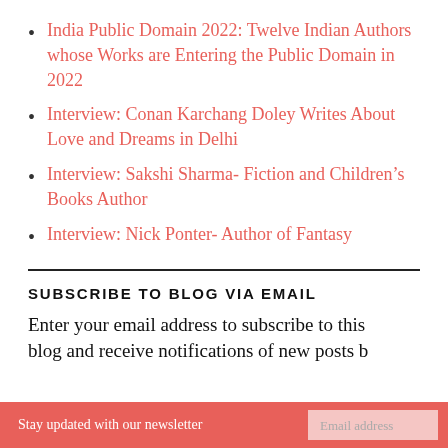India Public Domain 2022: Twelve Indian Authors whose Works are Entering the Public Domain in 2022
Interview: Conan Karchang Doley Writes About Love and Dreams in Delhi
Interview: Sakshi Sharma- Fiction and Children's Books Author
Interview: Nick Ponter- Author of Fantasy
SUBSCRIBE TO BLOG VIA EMAIL
Enter your email address to subscribe to this blog and receive notifications of new posts by
Stay updated with our newsletter